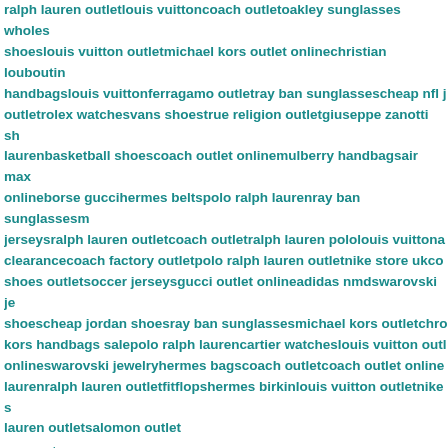ralph lauren outletlouis vuittoncoach outletoakley sunglasses wholesale shoeslouis vuitton outletmichael kors outlet onlinechristian louboutin handbagslouis vuittonferragamo outletray ban sunglassescheap nfl jerseys outletrolex watchesvans shoestrue religion outletgiuseppe zanotti shoeslaurenbasketball shoescoach outlet onlinemulberry handbagsair max onlineborse guccihermes beltspolo ralph laurenray ban sunglassesmichael jerseysralph lauren outletcoach outletralph lauren pololouis vuittona clearancecoach factory outletpolo ralph lauren outletnike store ukcoa shoes outletsoccer jerseysgucci outlet onlineadidas nmdswarovski je shoescheap jordan shoesray ban sunglassesmichael kors outletchro kors handbags salepolo ralph laurencartier watcheslouis vuitton outle onlineswarovski jewelryhermes bagscoach outletcoach outlet online laurenralph lauren outletfitflopshermes birkinlouis vuitton outletnike s lauren outletsalomon outlet
reply
Agen Domino
Submitted by Anonymous on Wed, 2017-03-29 03:16.
Your articles were very nice and full of information. Thanks, great post. I re... Domino
reply